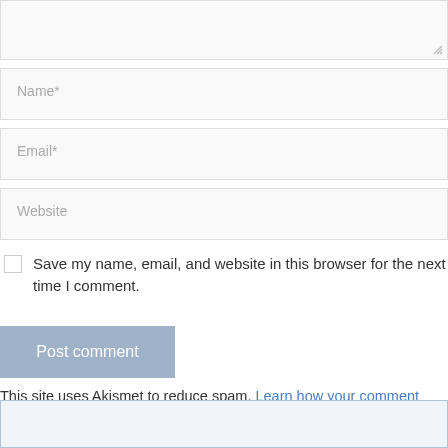[Figure (screenshot): Textarea input field (top portion, cropped) with a resize handle in the bottom-right corner]
Name*
Email*
Website
Save my name, email, and website in this browser for the next time I comment.
Post comment
This site uses Akismet to reduce spam. Learn how your comment data is processed.
[Figure (screenshot): Empty input/textarea field at bottom of page]